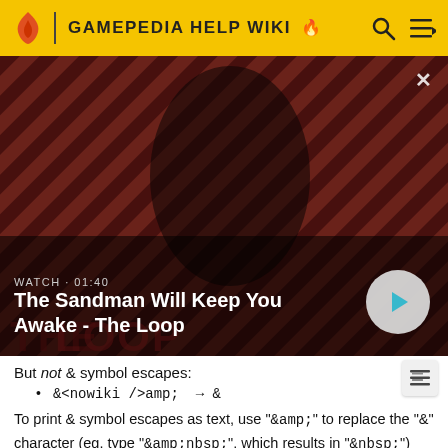GAMEPEDIA HELP WIKI
[Figure (screenshot): Video thumbnail showing 'The Sandman Will Keep You Awake - The Loop' with a dark-clad figure and a crow on a red striped background. Shows WATCH • 01:40 label and a play button.]
But not & symbol escapes:
&<nowiki />amp;  →  &
To print & symbol escapes as text, use "&amp;" to replace the "&" character (eg. type "&amp;nbsp;", which results in "&nbsp;")